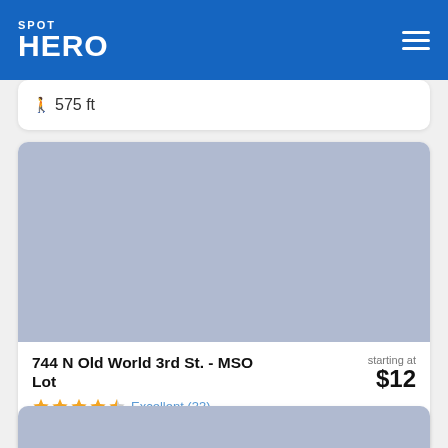SPOT HERO
575 ft
[Figure (screenshot): Gray placeholder image for parking lot photo]
744 N Old World 3rd St. - MSO Lot
starting at $12
Excellent (33)
471 ft